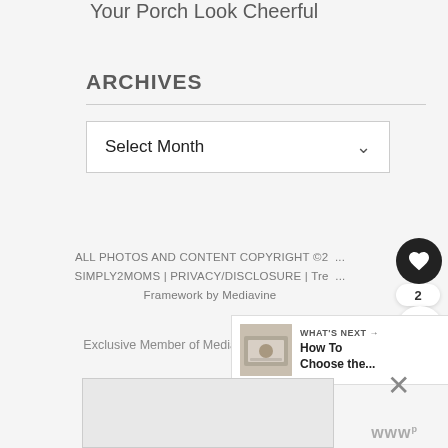Your Porch Look Cheerful
ARCHIVES
Select Month
ALL PHOTOS AND CONTENT COPYRIGHT ©2... SIMPLY2MOMS | PRIVACY/DISCLOSURE | Tre... Framework by Mediavine
Exclusive Member of Mediavine Home
WHAT'S NEXT → How To Choose the...